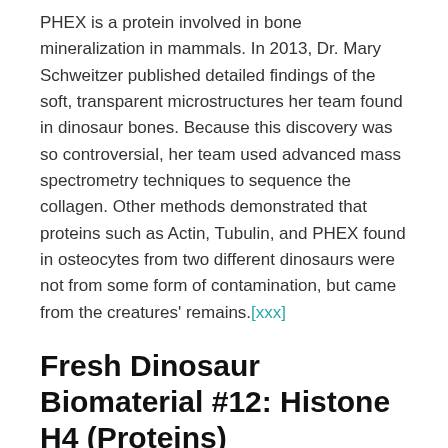PHEX is a protein involved in bone mineralization in mammals. In 2013, Dr. Mary Schweitzer published detailed findings of the soft, transparent microstructures her team found in dinosaur bones. Because this discovery was so controversial, her team used advanced mass spectrometry techniques to sequence the collagen. Other methods demonstrated that proteins such as Actin, Tubulin, and PHEX found in osteocytes from two different dinosaurs were not from some form of contamination, but came from the creatures' remains.[xxx]
Fresh Dinosaur Biomaterial #12: Histone H4 (Proteins)
Bacteria do not make histone H4, but animals do. DNA